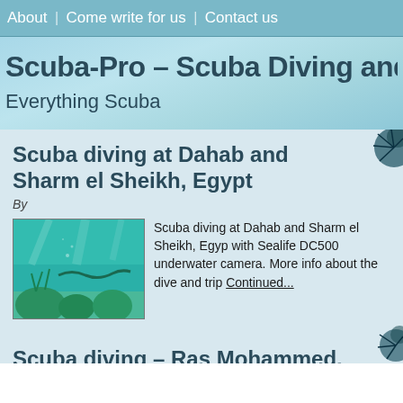About | Come write for us | Contact us
Scuba-Pro – Scuba Diving and O
Everything Scuba
Scuba diving at Dahab and Sharm el Sheikh, Egypt
By
[Figure (photo): Underwater photo of coral reef with sea life, taken at Dahab and Sharm el Sheikh Egypt with Sealife DC500 underwater camera]
Scuba diving at Dahab and Sharm el Sheikh, Egyp with Sealife DC500 underwater camera. More info about the dive and trip Continued...
Scuba diving – Ras Mohammed, Egypt (part 1)